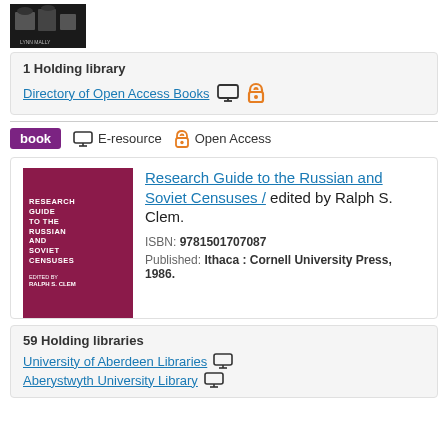[Figure (photo): Partial book cover image in black and white, showing people]
1 Holding library
Directory of Open Access Books
book  E-resource  Open Access
[Figure (photo): Book cover: Research Guide to the Russian and Soviet Censuses, edited by Ralph S. Clem, dark red/maroon cover]
Research Guide to the Russian and Soviet Censuses / edited by Ralph S. Clem.
ISBN: 9781501707087
Published: Ithaca : Cornell University Press, 1986.
59 Holding libraries
University of Aberdeen Libraries
Aberystwyth University Library